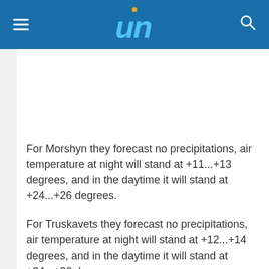UN logo navigation bar
For Morshyn they forecast no precipitations, air temperature at night will stand at +11...+13 degrees, and in the daytime it will stand at +24...+26 degrees.
For Truskavets they forecast no precipitations, air temperature at night will stand at +12...+14 degrees, and in the daytime it will stand at +24...+26 degrees.
For Svaliava they forecast no precipitations,